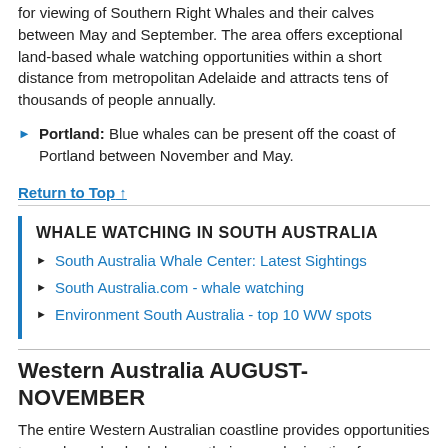for viewing of Southern Right Whales and their calves between May and September. The area offers exceptional land-based whale watching opportunities within a short distance from metropolitan Adelaide and attracts tens of thousands of people annually.
Portland: Blue whales can be present off the coast of Portland between November and May.
Return to Top ↑
WHALE WATCHING IN SOUTH AUSTRALIA
South Australia Whale Center: Latest Sightings
South Australia.com - whale watching
Environment South Australia - top 10 WW spots
Western Australia AUGUST-NOVEMBER
The entire Western Australian coastline provides opportunities to see humpback whales on their annual migration from Antarctic waters to